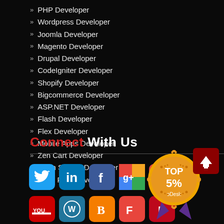PHP Developer
Wordpress Developer
Joomla Developer
Magento Developer
Drupal Developer
CodeIgniter Developer
Shopify Developer
Bigcommerce Developer
ASP.NET Developer
Flash Developer
Flex Developer
Mobile Apps Developer
Zen Cart Developer
Open Source Developer
Cake PHP Developer
Connect With Us
[Figure (infographic): Social media icons row 1: Twitter, LinkedIn, Facebook, Google+, another icon; row 2: YouTube, WordPress, Blogger, another, Pinterest]